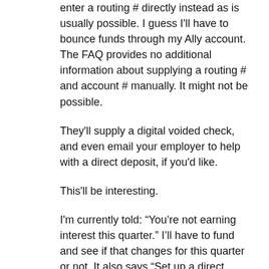enter a routing # directly instead as is usually possible. I guess I'll have to bounce funds through my Ally account. The FAQ provides no additional information about supplying a routing # and account # manually. It might not be possible.
They'll supply a digital voided check, and even email your employer to help with a direct deposit, if you'd like.
This'll be interesting.
I'm currently told: “You’re not earning interest this quarter.” I’ll have to fund and see if that changes for this quarter or not. It also says “Set up a direct deposit to be eligible for Savings Tier.” So that must be the magic required. So I’ll know by the end of this month.